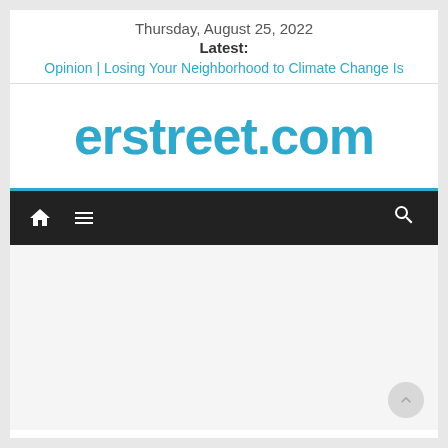Thursday, August 25, 2022
Latest:
Opinion | Losing Your Neighborhood to Climate Change Is
erstreet.com
[Figure (screenshot): Navigation bar with home icon, hamburger menu icon on the left, and search icon on the right, dark background]
[Figure (screenshot): Empty content/body area of the webpage, light grey background with a scroll-to-top button in the bottom right corner]